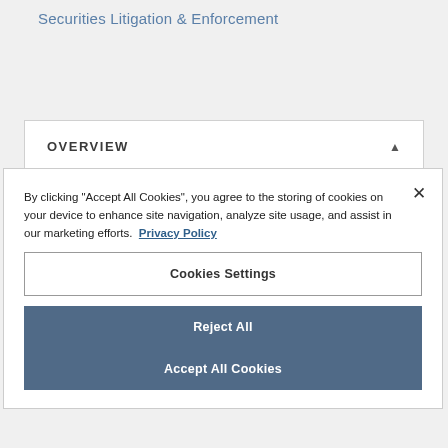Securities Litigation & Enforcement
OVERVIEW
By clicking "Accept All Cookies", you agree to the storing of cookies on your device to enhance site navigation, analyze site usage, and assist in our marketing efforts.  Privacy Policy
Cookies Settings
Reject All
Accept All Cookies